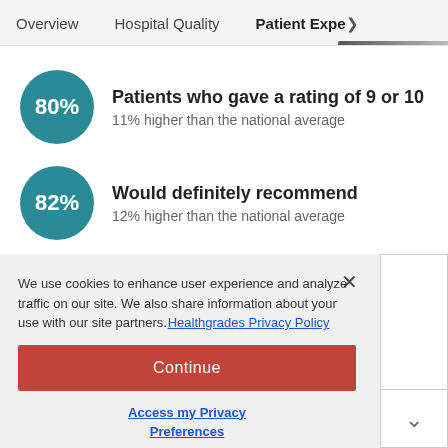Overview | Hospital Quality | Patient Expe>
[Figure (infographic): Teal circle with '80%' text indicating patients who gave a rating of 9 or 10, 11% higher than the national average]
Patients who gave a rating of 9 or 10
11% higher than the national average
[Figure (infographic): Teal circle with '82%' text indicating would definitely recommend, 12% higher than the national average]
Would definitely recommend
12% higher than the national average
We use cookies to enhance user experience and analyze traffic on our site. We also share information about your use with our site partners. Healthgrades Privacy Policy
Continue
Access my Privacy Preferences